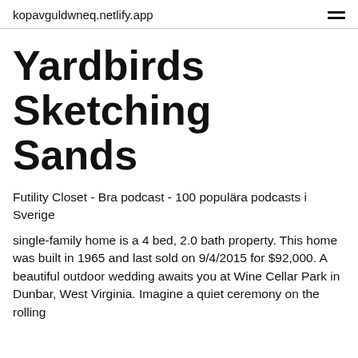kopavguldwneq.netlify.app
Yardbirds Sketching Sands
Futility Closet - Bra podcast - 100 populära podcasts i Sverige
single-family home is a 4 bed, 2.0 bath property. This home was built in 1965 and last sold on 9/4/2015 for $92,000. A beautiful outdoor wedding awaits you at Wine Cellar Park in Dunbar, West Virginia. Imagine a quiet ceremony on the rolling